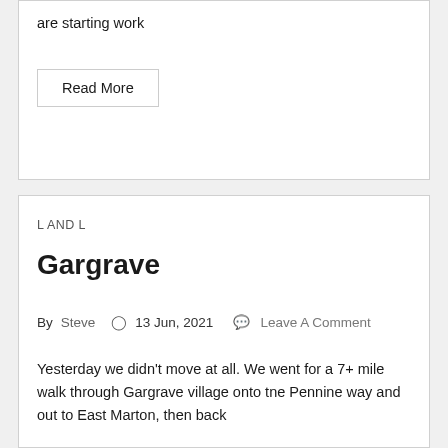are starting work
Read More
L AND L
Gargrave
By  Steve  ⊙ 13 Jun, 2021  💬 Leave A Comment
Yesterday we didn't move at all. We went for a 7+ mile walk through Gargrave village onto tne Pennine way and out to East Marton, then back